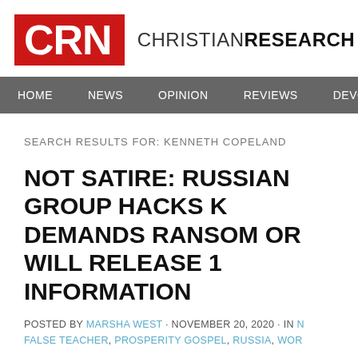[Figure (logo): CRN logo - red box with white CRN text followed by CHRISTIAN RESEARCH text]
HOME  NEWS  OPINION  REVIEWS  DEVOTION/T
SEARCH RESULTS FOR: KENNETH COPELAND
NOT SATIRE: RUSSIAN GROUP HACKS K DEMANDS RANSOM OR WILL RELEASE INFORMATION
POSTED BY MARSHA WEST · NOVEMBER 20, 2020 · IN N FALSE TEACHER, PROSPERITY GOSPEL, RUSSIA, WOR
(Protestia)  In a story that is stranger than fiction, the Russian that they've successfully hacked into Kenneth Copeland Mini of "sensitive data." As a result, they are threatening to release